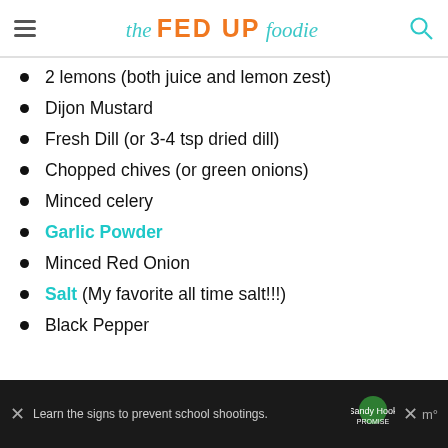the FED UP foodie
2 lemons (both juice and lemon zest)
Dijon Mustard
Fresh Dill (or 3-4 tsp dried dill)
Chopped chives (or green onions)
Minced celery
Garlic Powder
Minced Red Onion
Salt (My favorite all time salt!!!)
Black Pepper
Learn the signs to prevent school shootings. Sandy Hook Promise